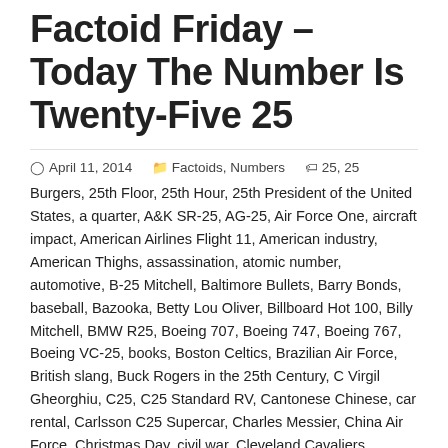Factoid Friday – Today The Number Is Twenty-Five 25
April 11, 2014   Factoids, Numbers   25, 25 Burgers, 25th Floor, 25th Hour, 25th President of the United States, a quarter, A&K SR-25, AG-25, Air Force One, aircraft impact, American Airlines Flight 11, American industry, American Thighs, assassination, atomic number, automotive, B-25 Mitchell, Baltimore Bullets, Barry Bonds, baseball, Bazooka, Betty Lou Oliver, Billboard Hot 100, Billy Mitchell, BMW R25, Boeing 707, Boeing 747, Boeing 767, Boeing VC-25, books, Boston Celtics, Brazilian Air Force, British slang, Buck Rogers in the 25th Century, C Virgil Gheorghiu, C25, C25 Standard RV, Cantonese Chinese, car rental, Carlsson C25 Supercar, Charles Messier, China Air Force, Christmas Day, civil war, Cleveland Cavaliers, Colonel William Smith, constellation Sagittarius, Czech Republic, D-25, Dark Lady, dart board, David Brown, David Brown DB25 Tractor, DD-25, Donkervoort, Donkervoort Prototype J25, Dutch Air Force, Easter, education